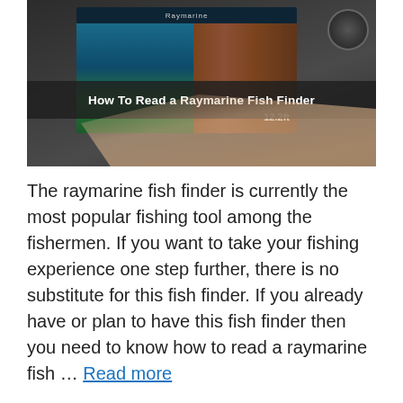[Figure (photo): A Raymarine fish finder device screen being touched by a hand, showing sonar/depth readings. A dark overlay band in the middle of the image shows the text 'How To Read a Raymarine Fish Finder' in bold white.]
The raymarine fish finder is currently the most popular fishing tool among the fishermen. If you want to take your fishing experience one step further, there is no substitute for this fish finder. If you already have or plan to have this fish finder then you need to know how to read a raymarine fish … Read more